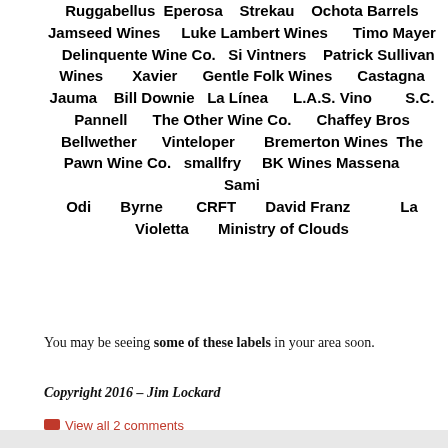Ruggabellus Eperosa Strekau Ochota Barrels Jamseed Wines Luke Lambert Wines Timo Mayer Delinquente Wine Co. Si Vintners Patrick Sullivan Wines Xavier Gentle Folk Wines Castagna Jauma Bill Downie La Línea L.A.S. Vino S.C. Pannell The Other Wine Co. Chaffey Bros Bellwether Vinteloper Bremerton Wines The Pawn Wine Co. smallfry BK Wines Massena Sami Odi Byrne CRFT David Franz La Violetta Ministry of Clouds
You may be seeing some of these labels in your area soon.
Copyright 2016 – Jim Lockard
View all 2 comments